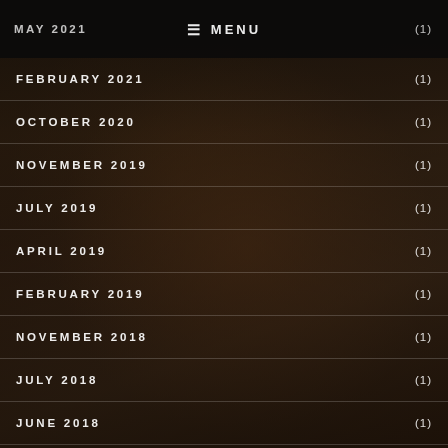MAY 2021   ≡ MENU   (1)
FEBRUARY 2021   (1)
OCTOBER 2020   (1)
NOVEMBER 2019   (1)
JULY 2019   (1)
APRIL 2019   (1)
FEBRUARY 2019   (1)
NOVEMBER 2018   (1)
JULY 2018   (1)
JUNE 2018   (1)
FEBRUARY 2018   (1)